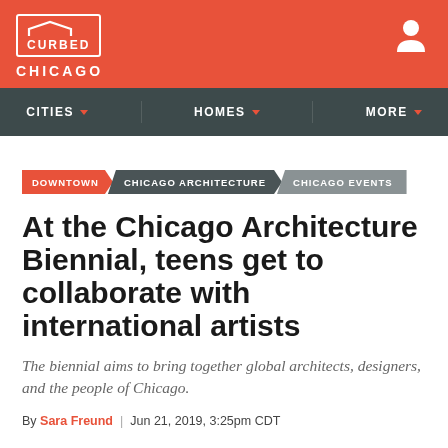CURBED CHICAGO
CITIES | HOMES | MORE
DOWNTOWN  CHICAGO ARCHITECTURE  CHICAGO EVENTS
At the Chicago Architecture Biennial, teens get to collaborate with international artists
The biennial aims to bring together global architects, designers, and the people of Chicago.
By Sara Freund  |  Jun 21, 2019, 3:25pm CDT